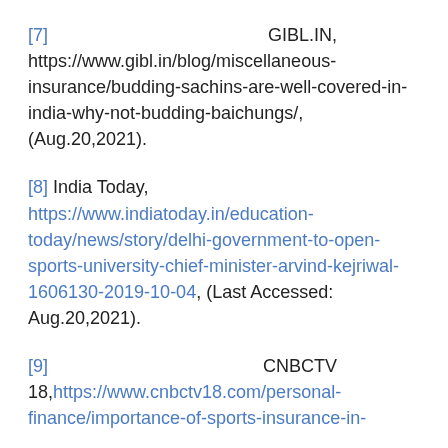[7] GIBL.IN, https://www.gibl.in/blog/miscellaneous-insurance/budding-sachins-are-well-covered-in-india-why-not-budding-baichungs/, (Aug.20,2021).
[8] India Today, https://www.indiatoday.in/education-today/news/story/delhi-government-to-open-sports-university-chief-minister-arvind-kejriwal-1606130-2019-10-04, (Last Accessed: Aug.20,2021).
[9] CNBCTV 18,https://www.cnbctv18.com/personal-finance/importance-of-sports-insurance-in-